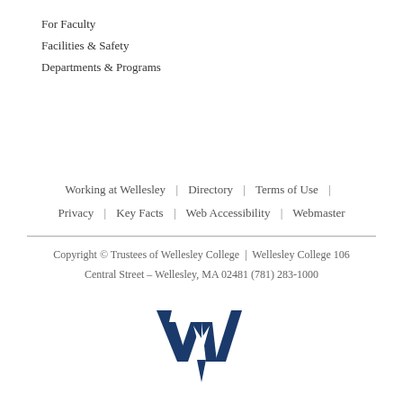For Faculty
Facilities & Safety
Departments & Programs
Working at Wellesley | Directory | Terms of Use | Privacy | Key Facts | Web Accessibility | Webmaster
Copyright © Trustees of Wellesley College | Wellesley College 106 Central Street – Wellesley, MA 02481 (781) 283-1000
[Figure (logo): Wellesley College W logo in dark blue]